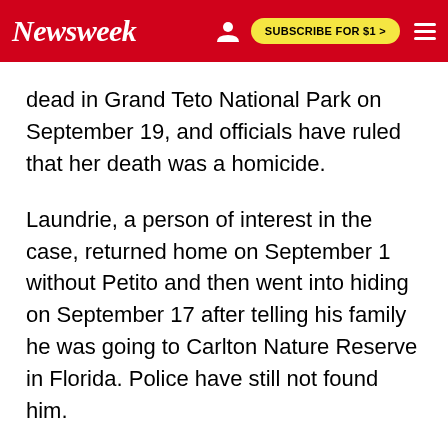Newsweek | SUBSCRIBE FOR $1 >
dead in Grand Teto National Park on September 19, and officials have ruled that her death was a homicide.
Laundrie, a person of interest in the case, returned home on September 1 without Petito and then went into hiding on September 17 after telling his family he was going to Carlton Nature Reserve in Florida. Police have still not found him.